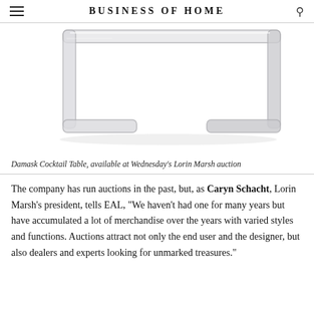BUSINESS OF HOME
[Figure (photo): Damask Cocktail Table, a clear/acrylic waterfall-style coffee table on a white background]
Damask Cocktail Table, available at Wednesday's Lorin Marsh auction
The company has run auctions in the past, but, as Caryn Schacht, Lorin Marsh's president, tells EAL, "We haven't had one for many years but have accumulated a lot of merchandise over the years with varied styles and functions. Auctions attract not only the end user and the designer, but also dealers and experts looking for unmarked treasures."